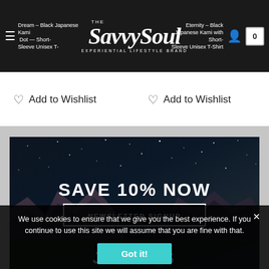The Savvy Soul — Experiential Lifestyle Brand
Dream – Black Japanese Kami with Dot — Short-Sleeve Unisex T-Shirt
Eternity – Black Japanese Kami with Short-Sleeve Unisex T-Shirt
♡ Add to Wishlist
♡ Add to Wishlist
[Figure (photo): Night sky with stars and mountain landscape banner with text SAVE 10% NOW and NEWSLETTER SIGNUP button]
We use cookies to ensure that we give you the best experience. If you continue to use this site we will assume that you are fine with that.
Got it!
JOIN US